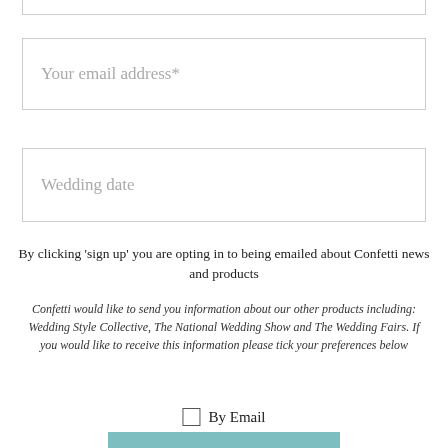Your email address*
Wedding date
By clicking 'sign up' you are opting in to being emailed about Confetti news and products
Confetti would like to send you information about our other products including: Wedding Style Collective, The National Wedding Show and The Wedding Fairs. If you would like to receive this information please tick your preferences below
By Email
SIGN UP!
Store Settings